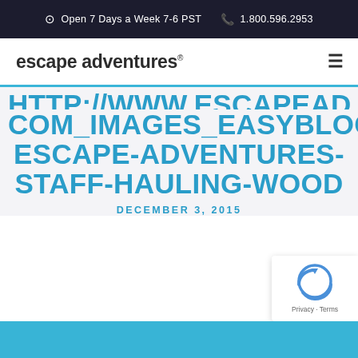Open 7 Days a Week 7-6 PST   1.800.596.2953
escape adventures®
COM_IMAGES_EASYBLOG_ARTICLES_23_B2AP3_MEDIUM_MOAB-ESCAPE-ADVENTURES-STAFF-HAULING-WOOD
DECEMBER 3, 2015